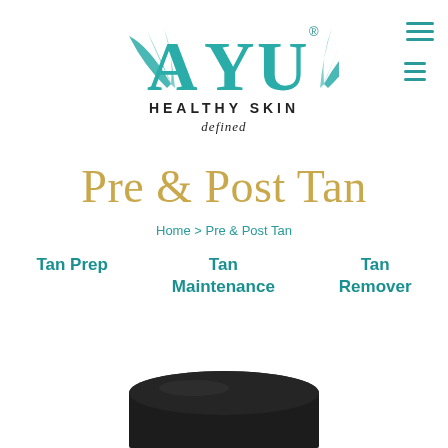[Figure (logo): AYU Healthy Skin Defined brand logo in teal/dark colors]
Pre & Post Tan
Home > Pre & Post Tan
Tan Prep
Tan Maintenance
Tan Remover
[Figure (photo): Dark round product container partially visible at bottom of page]